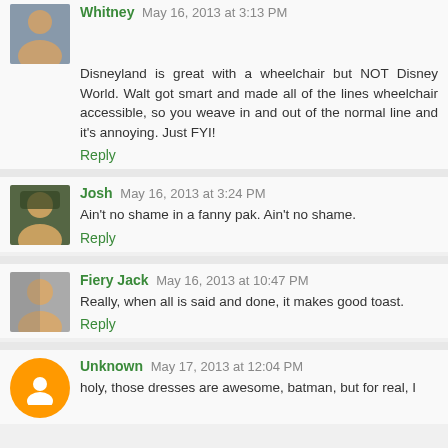Whitney May 16, 2013 at 3:13 PM
Disneyland is great with a wheelchair but NOT Disney World. Walt got smart and made all of the lines wheelchair accessible, so you weave in and out of the normal line and it's annoying. Just FYI!
Reply
Josh May 16, 2013 at 3:24 PM
Ain't no shame in a fanny pak. Ain't no shame.
Reply
Fiery Jack May 16, 2013 at 10:47 PM
Really, when all is said and done, it makes good toast.
Reply
Unknown May 17, 2013 at 12:04 PM
holy, those dresses are awesome, batman, but for real, I